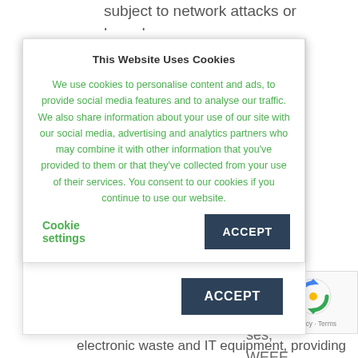subject to network attacks or breaches.
vices
ompanies
uipment
All data is
ank-level
ces are
-step
control is
l,
s to
eign
ses,
WEEE,
electronic waste and IT equipment, providing
[Figure (screenshot): Cookie consent dialog overlay with title 'This Website Uses Cookies', green text body about cookie usage, 'Cookie settings' link in green, and 'ACCEPT' button in dark blue.]
[Figure (logo): reCAPTCHA badge with rotating arrows logo and 'Privacy - Terms' text.]